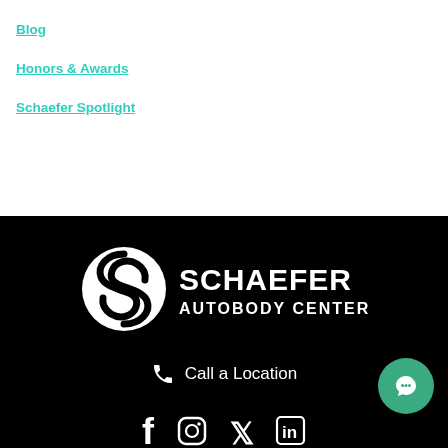Blog
Honors & Awards
Schaefer Spotlight
[Figure (logo): Schaefer Autobody Centers logo — white circular S icon with SCHAEFER AUTOBODY CENTERS text on black background]
Call a Location
[Figure (infographic): Social media icons row: Facebook, Instagram, Twitter/X, LinkedIn — white icons on black background. Green circular chat button on bottom right.]